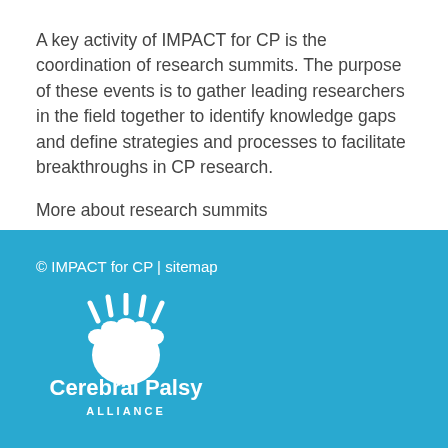A key activity of IMPACT for CP is the coordination of research summits. The purpose of these events is to gather leading researchers in the field together to identify knowledge gaps and define strategies and processes to facilitate breakthroughs in CP research.
More about research summits
© IMPACT for CP | sitemap
[Figure (logo): Cerebral Palsy Alliance logo: white paw print with rays above it, with text 'Cerebral Palsy' in large bold and 'ALLIANCE' in small caps below, all in white on blue background.]